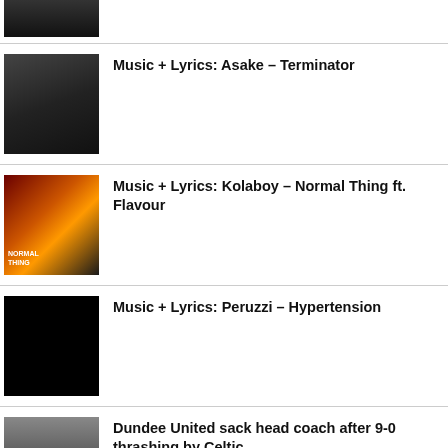[Figure (photo): Black and white thumbnail image, partial view at top]
[Figure (photo): Black and white photo of person seated]
Music + Lyrics: Asake – Terminator
[Figure (photo): Color album art for Kolaboy Normal Thing ft. Flavour]
Music + Lyrics: Kolaboy – Normal Thing ft. Flavour
[Figure (photo): Black image placeholder for Peruzzi Hypertension]
Music + Lyrics: Peruzzi – Hypertension
[Figure (photo): Photo of man's face, partial view at bottom]
Dundee United sack head coach after 9-0 thrashing by Celtic